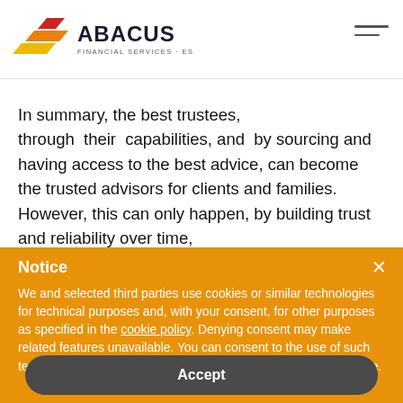[Figure (logo): Abacus Financial Services logo with red/yellow/orange geometric icon and text 'ABACUS FINANCIAL SERVICES · EST. 1974']
In summary, the best trustees, through their capabilities, and by sourcing and having access to the best advice, can become the trusted advisors for clients and families. However, this can only happen, by building trust and reliability over time,
Notice
We and selected third parties use cookies or similar technologies for technical purposes and, with your consent, for other purposes as specified in the cookie policy. Denying consent may make related features unavailable. You can consent to the use of such technologies by using the "Accept" button or by closing this notice.
Accept